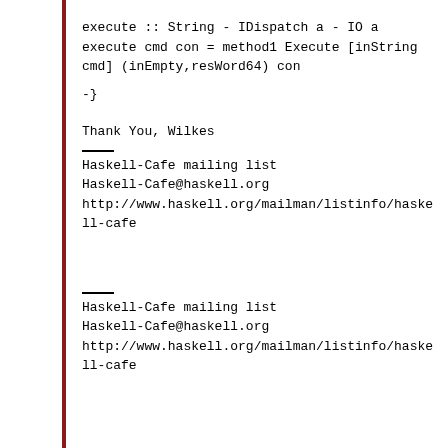execute :: String - IDispatch a - IO a
execute cmd con = method1 Execute [inString cmd] (inEmpty,resWord64) con
-}
Thank You,
Wilkes
Haskell-Cafe mailing list
Haskell-Cafe@haskell.org
http://www.haskell.org/mailman/listinfo/haskell-cafe
Haskell-Cafe mailing list
Haskell-Cafe@haskell.org
http://www.haskell.org/mailman/listinfo/haskell-cafe